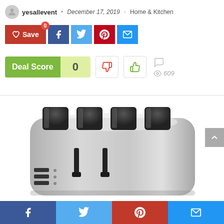yesallevent • December 17, 2019 • Home & Kitchen
[Figure (screenshot): Social sharing buttons: Save (red with heart icon), Facebook (dark blue), Twitter (light blue), Pinterest (red), Email (blue)]
[Figure (infographic): Deal Score widget showing 0, with thumbs-down and thumbs-up voting buttons, comment icon, and 609 views]
[Figure (photo): Stainless steel 4-slice toaster viewed from above-front angle, showing four slots and control knobs/levers on the front]
Facebook | Twitter | Pinterest | Email